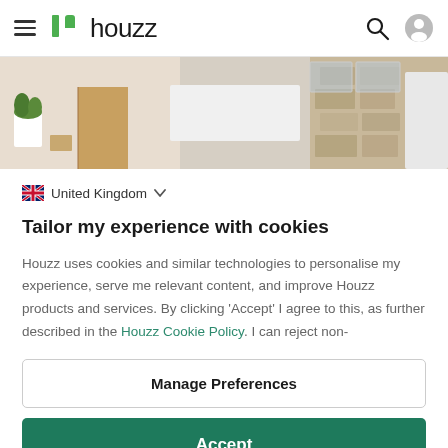houzz
[Figure (photo): Interior/exterior home photo showing indoor plants, wooden furniture, and stone wall exterior]
United Kingdom
Tailor my experience with cookies
Houzz uses cookies and similar technologies to personalise my experience, serve me relevant content, and improve Houzz products and services. By clicking 'Accept' I agree to this, as further described in the Houzz Cookie Policy. I can reject non-
Manage Preferences
Accept